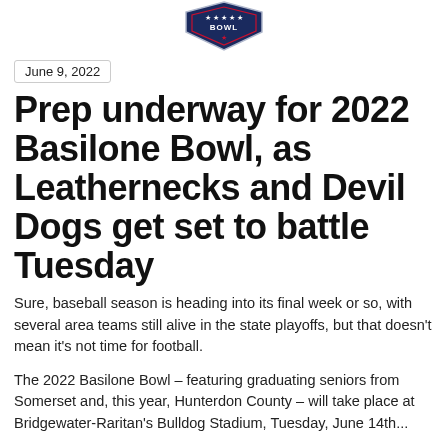[Figure (logo): Basilone Bowl logo — shield/football shape with stars and stripes, red star, text BOWL]
June 9, 2022
Prep underway for 2022 Basilone Bowl, as Leathernecks and Devil Dogs get set to battle Tuesday
Sure, baseball season is heading into its final week or so, with several area teams still alive in the state playoffs, but that doesn't mean it's not time for football.
The 2022 Basilone Bowl – featuring graduating seniors from Somerset and, this year, Hunterdon County – will take place at Bridgewater-Raritan's Bulldog Stadium, Tuesday, June 14th...